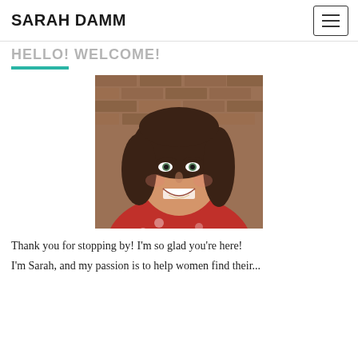SARAH DAMM
HELLO! WELCOME!
[Figure (photo): Portrait photo of Sarah Damm, a woman with medium-length dark brown wavy hair, smiling, wearing a red floral top, standing in front of a brick wall background.]
Thank you for stopping by! I'm so glad you're here!
I'm Sarah, and my passion is to help women find their...